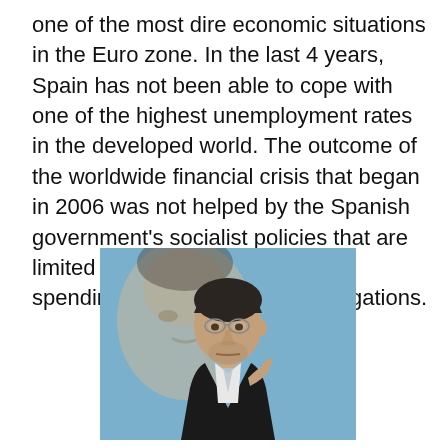one of the most dire economic situations in the Euro zone. In the last 4 years, Spain has not been able to cope with one of the highest unemployment rates in the developed world. The outcome of the worldwide financial crisis that began in 2006 was not helped by the Spanish government's socialist policies that are limited to increasing government spending in order to meet its obligations.
[Figure (photo): A man in a dark suit gesturing with one hand, with a blurred face of another person visible in the background against a blue background.]